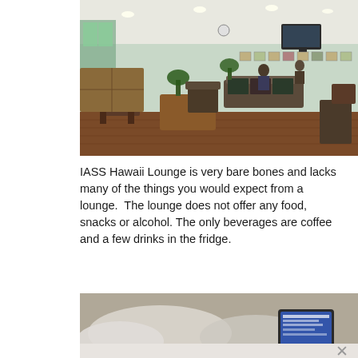[Figure (photo): Interior of IASS Hawaii Lounge showing a spacious room with wooden floors, rattan/tropical-style furniture including chairs and tables, framed artwork on the walls, recessed ceiling lights, a TV mounted on the wall, and a few guests visible in the background.]
IASS Hawaii Lounge is very bare bones and lacks many of the things you would expect from a lounge.  The lounge does not offer any food, snacks or alcohol. The only beverages are coffee and a few drinks in the fridge.
[Figure (photo): Partial view of a blurry room interior with what appears to be white cushions/pillows and a tablet or screen visible, partially cropped by a popup/overlay UI with a close (X) button.]